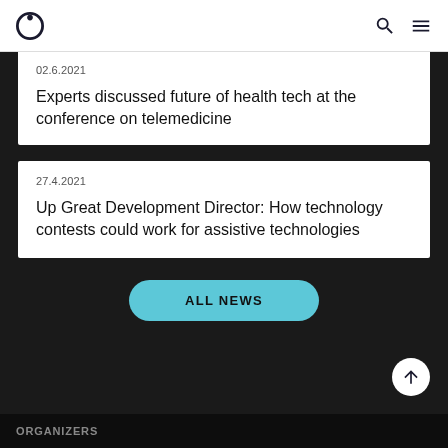G [logo] [search] [menu]
02.6.2021
Experts discussed future of health tech at the conference on telemedicine
27.4.2021
Up Great Development Director: How technology contests could work for assistive technologies
ALL NEWS
ORGANIZERS